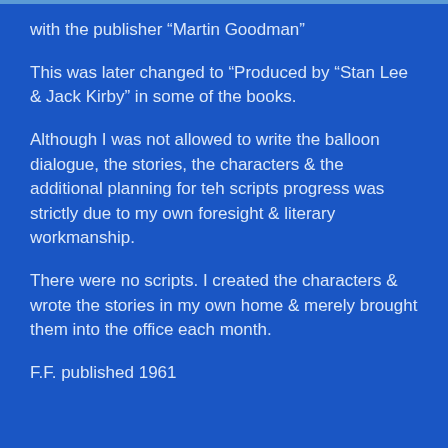with the publisher “Martin Goodman”
This was later changed to “Produced by “Stan Lee & Jack Kirby” in some of the books.
Although I was not allowed to write the balloon dialogue, the stories, the characters & the additional planning for teh scripts progress was strictly due to my own foresight & literary workmanship.
There were no scripts. I created the characters & wrote the stories in my own home & merely brought them into the office each month.
F.F. published 1961